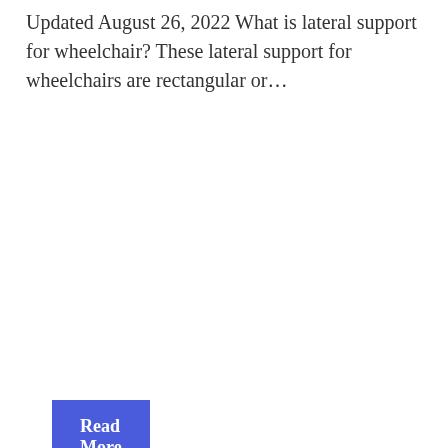Updated August 26, 2022 What is lateral support for wheelchair? These lateral support for wheelchairs are rectangular or...
Read More »